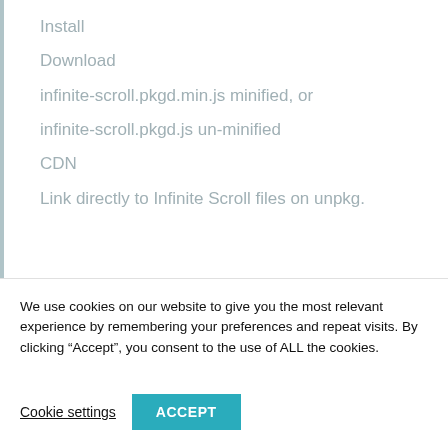Install
Download
infinite-scroll.pkgd.min.js minified, or
infinite-scroll.pkgd.js un-minified
CDN
Link directly to Infinite Scroll files on unpkg.
Package managers
We use cookies on our website to give you the most relevant experience by remembering your preferences and repeat visits. By clicking “Accept”, you consent to the use of ALL the cookies.
Cookie settings   ACCEPT